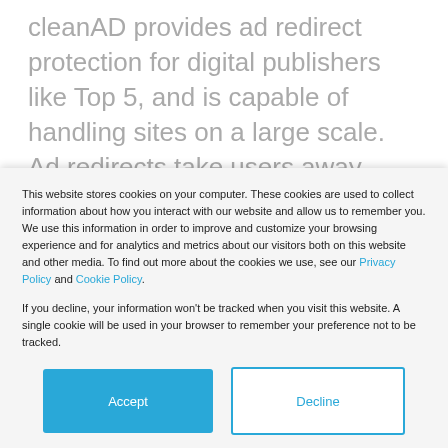cleanAD provides ad redirect protection for digital publishers like Top 5, and is capable of handling sites on a large scale. Ad redirects take users away from a site and consistently undercut publisher profit. This is an imminent threat for most publishers of this scale, and solving it
This website stores cookies on your computer. These cookies are used to collect information about how you interact with our website and allow us to remember you. We use this information in order to improve and customize your browsing experience and for analytics and metrics about our visitors both on this website and other media. To find out more about the cookies we use, see our Privacy Policy and Cookie Policy.

If you decline, your information won't be tracked when you visit this website. A single cookie will be used in your browser to remember your preference not to be tracked.